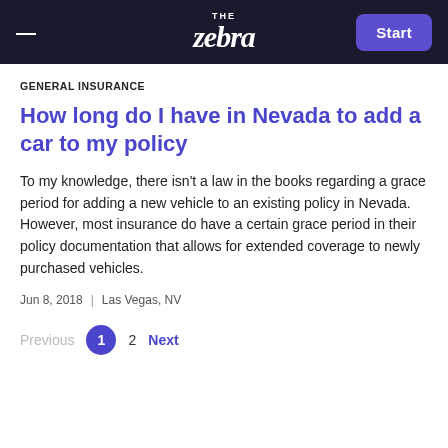THE zebra | Start
GENERAL INSURANCE
How long do I have in Nevada to add a car to my policy
To my knowledge, there isn't a law in the books regarding a grace period for adding a new vehicle to an existing policy in Nevada. However, most insurance do have a certain grace period in their policy documentation that allows for extended coverage to newly purchased vehicles.
Jun 8, 2018   |   Las Vegas, NV
Previous  1  2  Next